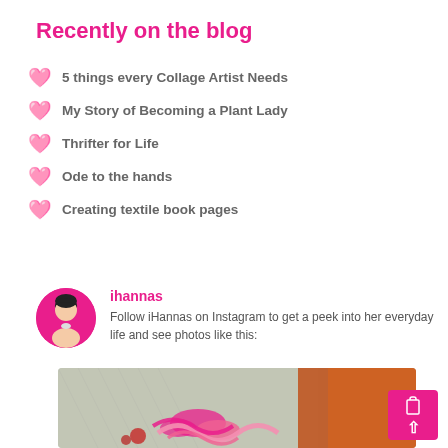Recently on the blog
5 things every Collage Artist Needs
My Story of Becoming a Plant Lady
Thrifter for Life
Ode to the hands
Creating textile book pages
ihannas
Follow iHannas on Instagram to get a peek into her everyday life and see photos like this:
[Figure (photo): Photo of colorful pink and orange textile/craft materials, close-up]